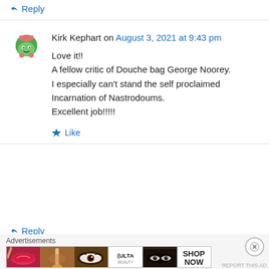↪ Reply
Kirk Kephart on August 3, 2021 at 9:43 pm
Love it!!
A fellow critic of Douche bag George Noorey.
I especially can't stand the self proclaimed Incarnation of Nastrodoums.
Excellent job!!!!!
★ Like
↪ Reply
Advertisements